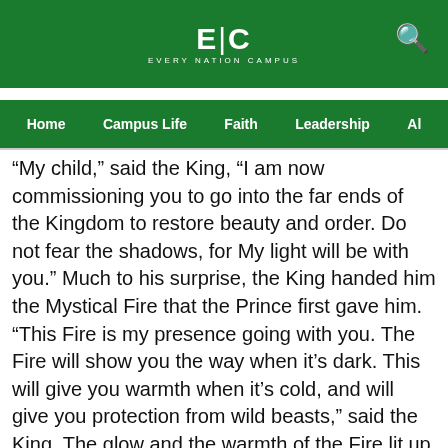ENC EVERY NATION CAMPUS
Home  Campus Life  Faith  Leadership  Al
“My child,” said the King, “I am now commissioning you to go into the far ends of the Kingdom to restore beauty and order. Do not fear the shadows, for My light will be with you.” Much to his surprise, the King handed him the Mystical Fire that the Prince first gave him. “This Fire is my presence going with you. The Fire will show you the way when it’s dark. This will give you warmth when it’s cold, and will give you protection from wild beasts,” said the King. The glow and the warmth of the Fire lit up his face. He was ready for battle.